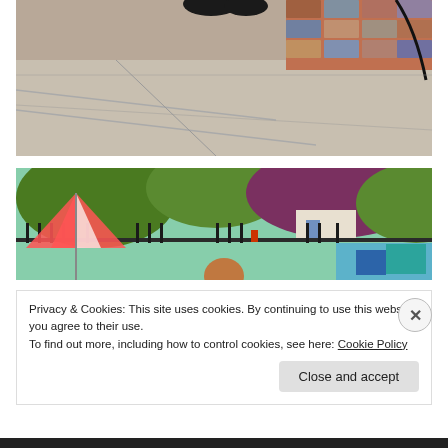[Figure (photo): Close-up of concrete steps with a gloved hand visible at the top, and colorful brick wall in the background.]
[Figure (photo): Outdoor backyard or park scene with trees, a striped umbrella, iron fence, pool, and a child visible in the foreground.]
Privacy & Cookies: This site uses cookies. By continuing to use this website, you agree to their use.
To find out more, including how to control cookies, see here: Cookie Policy
Close and accept